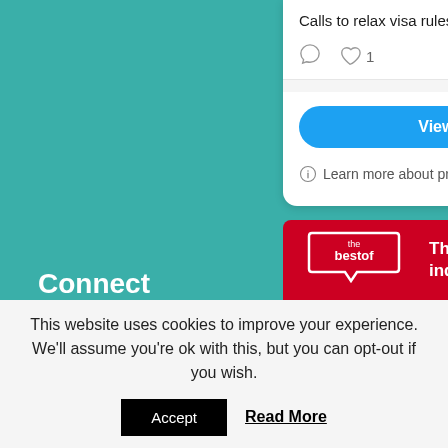[Figure (screenshot): Twitter widget card showing tweet text 'Calls to relax visa rules for hospitality ...' with comment and like icons (1 like), a 'View more on Twitter' blue button, and a privacy note 'Learn more about privacy on Twitter']
Connect
[Figure (logo): thebestof logo on red banner with tagline 'The place f... independ...']
This website uses cookies to improve your experience. We'll assume you're ok with this, but you can opt-out if you wish.
Accept
Read More